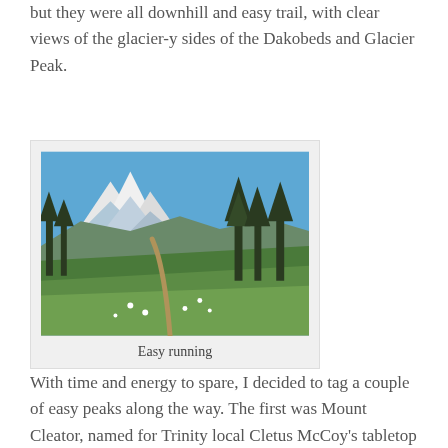but they were all downhill and easy trail, with clear views of the glacier-y sides of the Dakobeds and Glacier Peak.
[Figure (photo): A mountain hiking trail winding through lush green alpine meadow with wildflowers, tall evergreen trees on the right, and snow-capped mountain peaks under a clear blue sky in the background. Caption: Easy running.]
Easy running
With time and energy to spare, I decided to tag a couple of easy peaks along the way. The first was Mount Cleator, named for Trinity local Cletus McCoy's tabletop